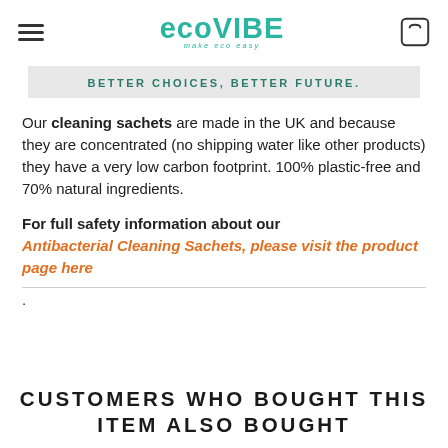EcoVibe — make eco easy
BETTER CHOICES, BETTER FUTURE.
Our cleaning sachets are made in the UK and because they are concentrated (no shipping water like other products) they have a very low carbon footprint. 100% plastic-free and 70% natural ingredients.
For full safety information about our Antibacterial Cleaning Sachets, please visit the product page here.
CUSTOMERS WHO BOUGHT THIS ITEM ALSO BOUGHT